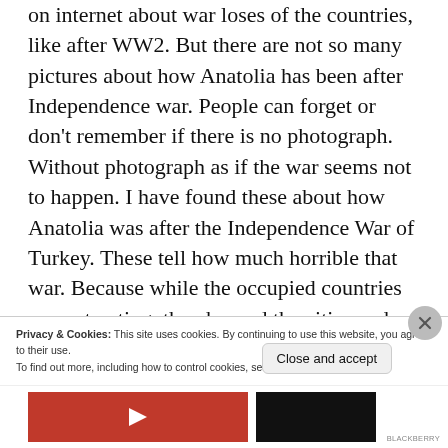on internet about war loses of the countries, like after WW2. But there are not so many pictures about how Anatolia has been after Independence war. People can forget or don't remember if there is no photograph. Without photograph as if the war seems not to happen. I have found these about how Anatolia was after the Independence War of Turkey. These tell how much horrible that war. Because while the occupied countries was retreating, they burned the cities and left behind them. These are the
Privacy & Cookies: This site uses cookies. By continuing to use this website, you agree to their use.
To find out more, including how to control cookies, see here: Cookie Policy